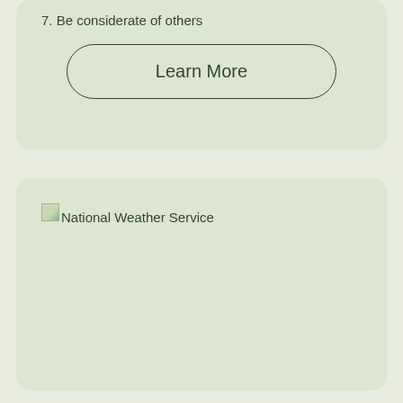7. Be considerate of others
Learn More
[Figure (logo): National Weather Service logo image placeholder]
National Weather Service